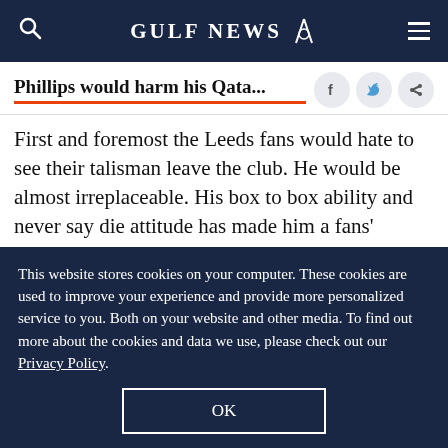GULF NEWS
Phillips would harm his Qata...
First and foremost the Leeds fans would hate to see their talisman leave the club. He would be almost irreplaceable. His box to box ability and never say die attitude has made him a fans' favourite. Leeds would be a lot weaker without him that is for sure. Maybe not since David Batty way back in the 90s
This website stores cookies on your computer. These cookies are used to improve your experience and provide more personalized service to you. Both on your website and other media. To find out more about the cookies and data we use, please check out our Privacy Policy.